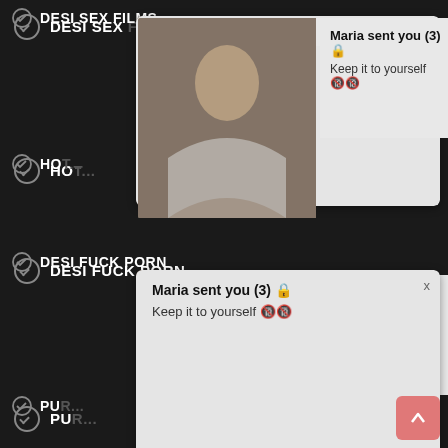DESI SEX FILMS
[Figure (screenshot): Notification popup: Maria sent you (3) - Keep it to yourself, with image of woman in workout clothes]
HOT ...
DESI FUCK PORN
[Figure (screenshot): Notification popup: Maria sent you (3) - Keep it to yourself, with image of woman in workout clothes]
PUR...
INDIAN GIRL NUDE
BHABHI FUCK
INDIAN WOMEN PORN
ALL DESI SEX
ALL INDIAN VIDEOS